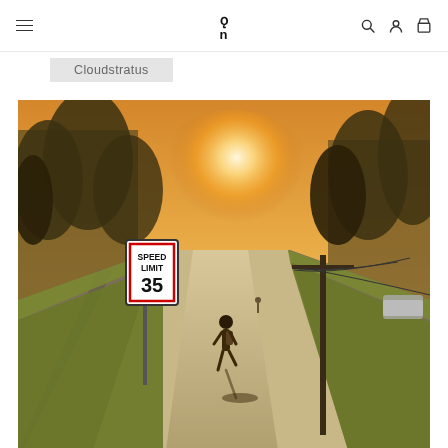On Running — Cloudstratus
Cloudstratus
[Figure (photo): A runner jogging along a sidewalk at sunset on a suburban road. A Speed Limit 35 sign is visible on the left side. Trees line both sides of the street, utility poles with wires are on the right, and a car is parked in the distance. The sun creates a warm golden glow on the horizon.]